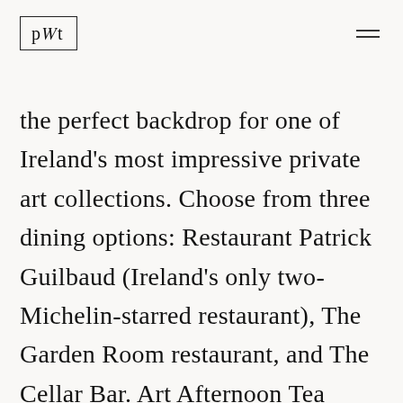PWT
the perfect backdrop for one of Ireland's most impressive private art collections. Choose from three dining options: Restaurant Patrick Guilbaud (Ireland's only two-Michelin-starred restaurant), The Garden Room restaurant, and The Cellar Bar. Art Afternoon Tea service is available in the gracious Georgian drawing rooms. Indulge in a massage or facial in the new Merrion Spa & Health Club.